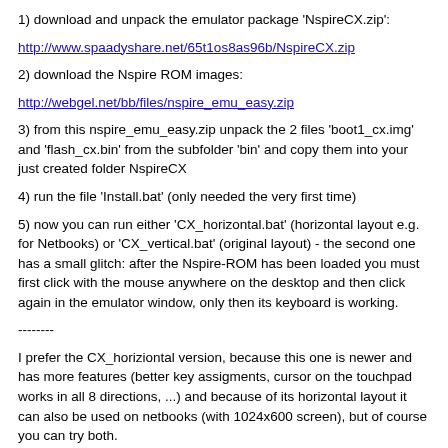1) download and unpack the emulator package 'NspireCX.zip':
http://www.spaadyshare.net/65t1os8as96b/NspireCX.zip
2) download the Nspire ROM images:
http://webgel.net/bb/files/nspire_emu_easy.zip
3) from this nspire_emu_easy.zip unpack the 2 files 'boot1_cx.img' and 'flash_cx.bin' from the subfolder 'bin' and copy them into your just created folder NspireCX
4) run the file 'Install.bat' (only needed the very first time)
5) now you can run either 'CX_horizontal.bat' (horizontal layout e.g. for Netbooks) or 'CX_vertical.bat' (original layout) - the second one has a small glitch: after the Nspire-ROM has been loaded you must first click with the mouse anywhere on the desktop and then click again in the emulator window, only then its keyboard is working.
--------
I prefer the CX_horiziontal version, because this one is newer and has more features (better key assigments, cursor on the touchpad works in all 8 directions, ...) and because of its horizontal layout it can also be used on netbooks (with 1024x600 screen), but of course you can try both.
For the CX_vertical don't forget the remark in point 5) above (clicking at the desktop first).